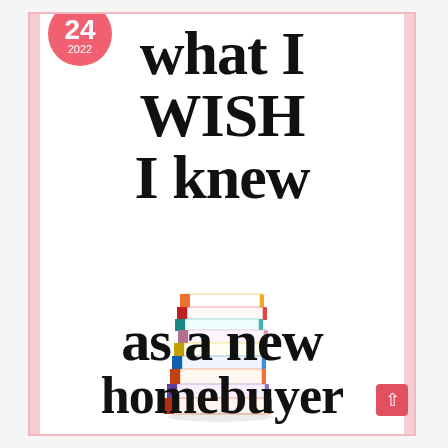what I WISH I knew
[Figure (illustration): Stack of colorful books piled on top of each other, including books in orange, red, teal, pink/purple, yellow, blue, orange, and purple colors.]
as a new